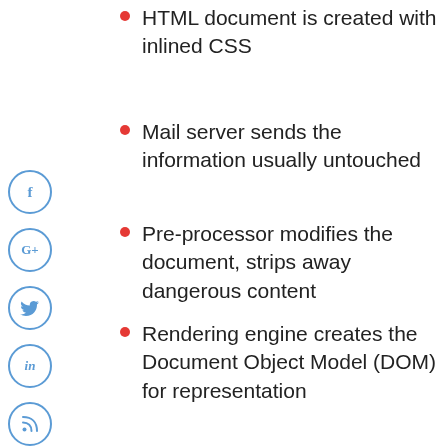HTML document is created with inlined CSS
Mail server sends the information usually untouched
Pre-processor modifies the document, strips away dangerous content
Rendering engine creates the Document Object Model (DOM) for representation
Next, we inspected the DOM in Chrome and Firefox through a simple example, which was rendered very differently in the two browsers.